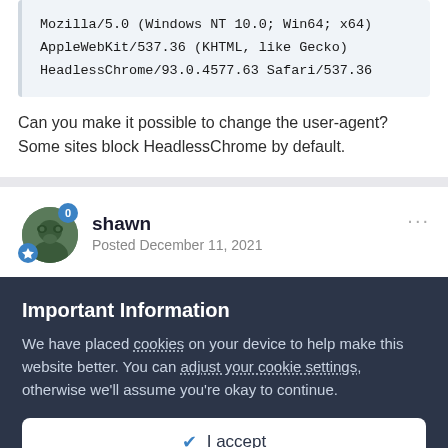Mozilla/5.0 (Windows NT 10.0; Win64; x64)
AppleWebKit/537.36 (KHTML, like Gecko)
HeadlessChrome/93.0.4577.63 Safari/537.36
Can you make it possible to change the user-agent? Some sites block HeadlessChrome by default.
shawn
Posted December 11, 2021
Important Information
We have placed cookies on your device to help make this website better. You can adjust your cookie settings, otherwise we'll assume you're okay to continue.
✔ I accept